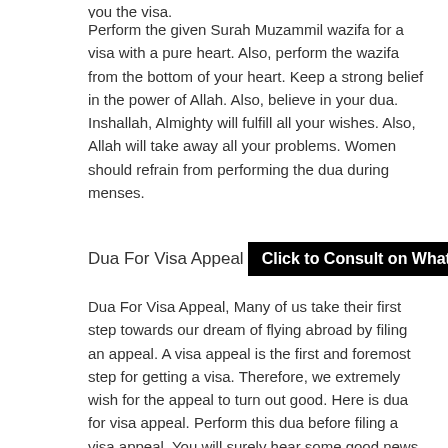you the visa.
Perform the given Surah Muzammil wazifa for a visa with a pure heart. Also, perform the wazifa from the bottom of your heart. Keep a strong belief in the power of Allah. Also, believe in your dua. Inshallah, Almighty will fulfill all your wishes. Also, Allah will take away all your problems. Women should refrain from performing the dua during menses.
Dua For Visa Appeal
Click to Consult on Whatsapp
Dua For Visa Appeal, Many of us take their first step towards our dream of flying abroad by filing an appeal. A visa appeal is the first and foremost step for getting a visa. Therefore, we extremely wish for the appeal to turn out good. Here is dua for visa appeal. Perform this dua before filing a visa appeal. You will surely hear some good news very soon.